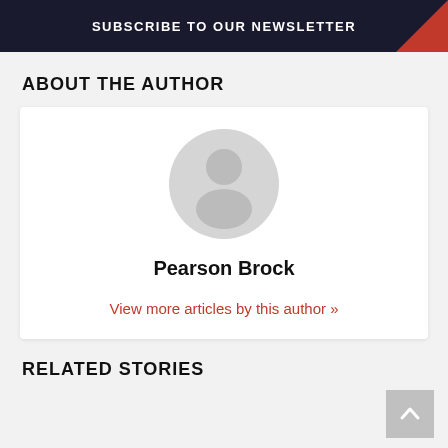SUBSCRIBE TO OUR NEWSLETTER
ABOUT THE AUTHOR
[Figure (illustration): Generic user avatar placeholder: a grey circle with a silhouette of a person (head and shoulders) on a white card background]
Pearson Brock
View more articles by this author »
RELATED STORIES